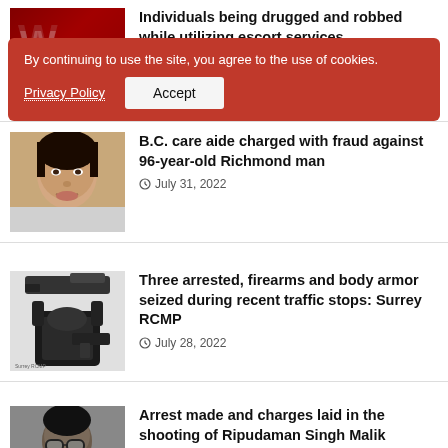[Figure (photo): Red thumbnail with letter W overlaid — news article photo for escort services robbery story]
Individuals being drugged and robbed while utilizing escort services
© August 22, 2022
[Figure (screenshot): Cookie consent banner overlay: red background, text 'By continuing to use the site, you agree to the use of cookies.' with Privacy Policy link and Accept button]
[Figure (photo): Mugshot photo of a woman — news article about B.C. care aide charged with fraud]
B.C. care aide charged with fraud against 96-year-old Richmond man
© July 31, 2022
[Figure (photo): Photo showing seized firearms, body armor and ammunition — Surrey RCMP story]
Three arrested, firearms and body armor seized during recent traffic stops: Surrey RCMP
© July 28, 2022
[Figure (photo): Photo of a person wearing glasses — arrest in Ripudaman Singh Malik shooting story]
Arrest made and charges laid in the shooting of Ripudaman Singh Malik